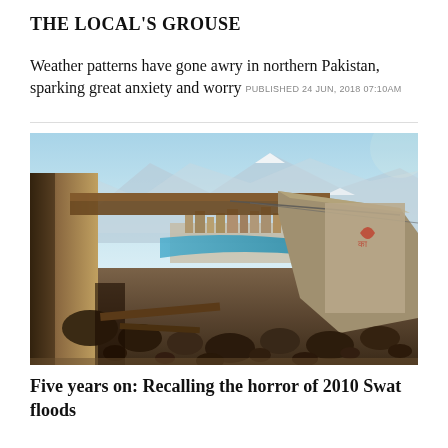THE LOCAL'S GROUSE
Weather patterns have gone awry in northern Pakistan, sparking great anxiety and worry PUBLISHED 24 JUN, 2018 07:10AM
[Figure (photo): Ruins of a flood-damaged building in a mountainous region, with a town and turquoise river visible in the background. Debris and boulders in the foreground.]
Five years on: Recalling the horror of 2010 Swat floods